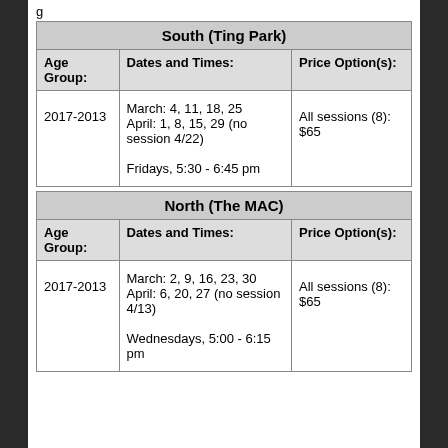| South (Ting Park) |  |  |
| --- | --- | --- |
| Age Group: | Dates and Times: | Price Option(s): |
| 2017-2013 | March: 4, 11, 18, 25
April: 1, 8, 15, 29 (no session 4/22)

Fridays, 5:30 - 6:45 pm | All sessions (8): $65 |
| North (The MAC) |  |  |
| --- | --- | --- |
| Age Group: | Dates and Times: | Price Option(s): |
| 2017-2013 | March: 2, 9, 16, 23, 30
April: 6, 20, 27 (no session 4/13)

Wednesdays, 5:00 - 6:15 pm | All sessions (8): $65 |